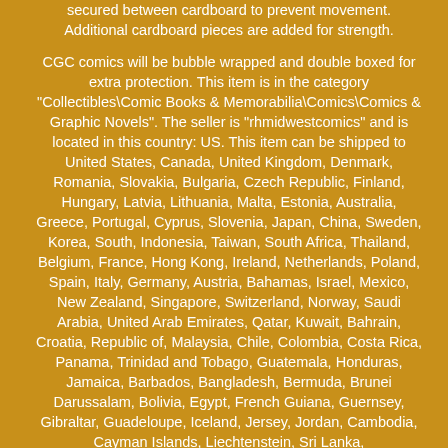secured between cardboard to prevent movement. Additional cardboard pieces are added for strength.
CGC comics will be bubble wrapped and double boxed for extra protection. This item is in the category "Collectibles\Comic Books & Memorabilia\Comics\Comics & Graphic Novels". The seller is "rhmidwestcomics" and is located in this country: US. This item can be shipped to United States, Canada, United Kingdom, Denmark, Romania, Slovakia, Bulgaria, Czech Republic, Finland, Hungary, Latvia, Lithuania, Malta, Estonia, Australia, Greece, Portugal, Cyprus, Slovenia, Japan, China, Sweden, Korea, South, Indonesia, Taiwan, South Africa, Thailand, Belgium, France, Hong Kong, Ireland, Netherlands, Poland, Spain, Italy, Germany, Austria, Bahamas, Israel, Mexico, New Zealand, Singapore, Switzerland, Norway, Saudi Arabia, United Arab Emirates, Qatar, Kuwait, Bahrain, Croatia, Republic of, Malaysia, Chile, Colombia, Costa Rica, Panama, Trinidad and Tobago, Guatemala, Honduras, Jamaica, Barbados, Bangladesh, Bermuda, Brunei Darussalam, Bolivia, Egypt, French Guiana, Guernsey, Gibraltar, Guadeloupe, Iceland, Jersey, Jordan, Cambodia, Cayman Islands, Liechtenstein, Sri Lanka,